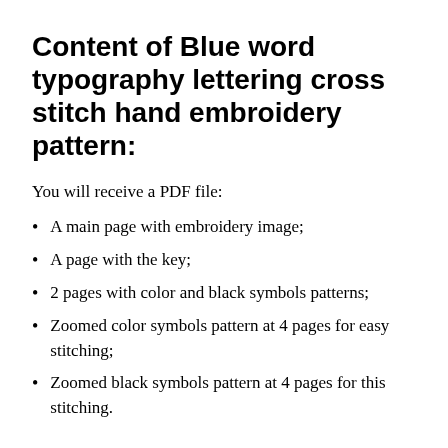Content of Blue word typography lettering cross stitch hand embroidery pattern:
You will receive a PDF file:
A main page with embroidery image;
A page with the key;
2 pages with color and black symbols patterns;
Zoomed color symbols pattern at 4 pages for easy stitching;
Zoomed black symbols pattern at 4 pages for this stitching.